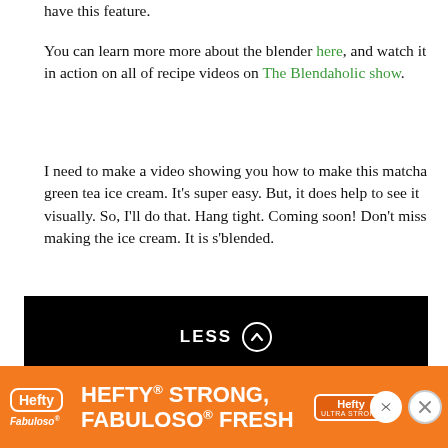have this feature.
You can learn more more about the blender here, and watch it in action on all of recipe videos on The Blendaholic show.
I need to make a video showing you how to make this matcha green tea ice cream. It's super easy. But, it does help to see it visually. So, I'll do that. Hang tight. Coming soon! Don't miss making the ice cream. It is s'blended.
[Figure (other): Black 'LESS' button with upward chevron circle icon]
[Figure (other): Hefty Strong, Fabuloso Fresh advertisement banner in orange]